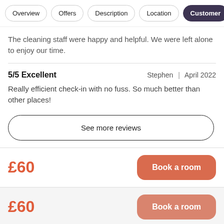Overview | Offers | Description | Location | Customer
The cleaning staff were happy and helpful. We were left alone to enjoy our time.
5/5 Excellent    Stephen | April 2022
Really efficient check-in with no fuss. So much better than other places!
See more reviews
£60   Book a room
£60   Book a room